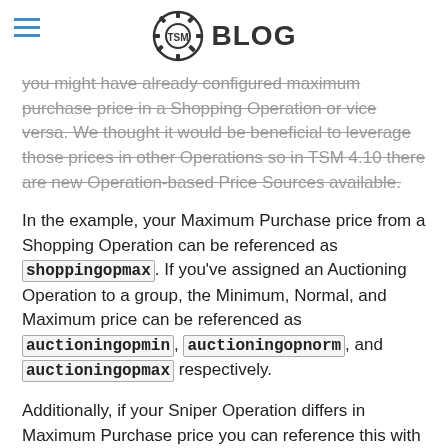TSM BLOG
you might have already configured maximum purchase price in a Shopping Operation or vice versa. We thought it would be beneficial to leverage those prices in other Operations so in TSM 4.10 there are new Operation-based Price Sources available.
In the example, your Maximum Purchase price from a Shopping Operation can be referenced as shoppingopmax. If you've assigned an Auctioning Operation to a group, the Minimum, Normal, and Maximum price can be referenced as auctioningopmin, auctioningopnorm, and auctioningopmax respectively.
Additionally, if your Sniper Operation differs in Maximum Purchase price you can reference this with sniperopmax. Now you can buy things for less than your Minimum Auctioning price, or post things for more than your Maximum